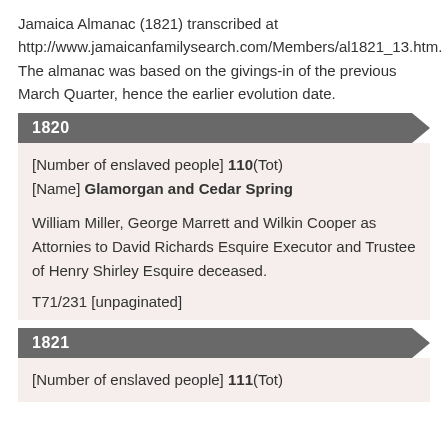Jamaica Almanac (1821) transcribed at http://www.jamaicanfamilysearch.com/Members/al1821_13.htm. The almanac was based on the givings-in of the previous March Quarter, hence the earlier evolution date.
1820
[Number of enslaved people] 110(Tot)
[Name] Glamorgan and Cedar Spring

William Miller, George Marrett and Wilkin Cooper as Attornies to David Richards Esquire Executor and Trustee of Henry Shirley Esquire deceased.

T71/231 [unpaginated]
1821
[Number of enslaved people] 111(Tot)